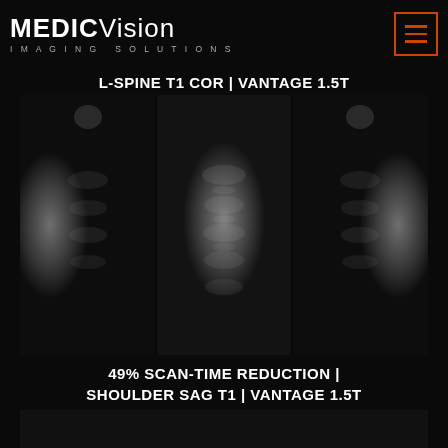MEDIC Vision IMAGING SOLUTIONS
47% SCAN-TIME REDUCTION | L-SPINE T1 COR | VANTAGE 1.5T
L-SPINE T1 COR | VANTAGE 1.5T
[Figure (photo): MRI scan image of L-spine T1 coronal view, shown in greyscale. Three panel comparison showing lumbar spine anatomy in coronal orientation on Vantage 1.5T scanner.]
49% SCAN-TIME REDUCTION | SHOULDER SAG T1 | VANTAGE 1.5T
[Figure (photo): Partial MRI scan image of shoulder sagittal T1 view, shown in greyscale at bottom of page, partially cropped.]